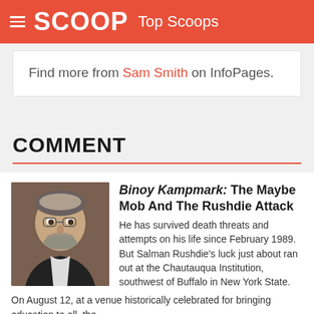SCOOP Top Scoops
Find more from Sam Smith on InfoPages.
COMMENT
Binoy Kampmark: The Maybe Mob And The Rushdie Attack
He has survived death threats and attempts on his life since February 1989. But Salman Rushdie's luck just about ran out at the Chautauqua Institution, southwest of Buffalo in New York State. On August 12, at a venue historically celebrated for bringing education to all, the